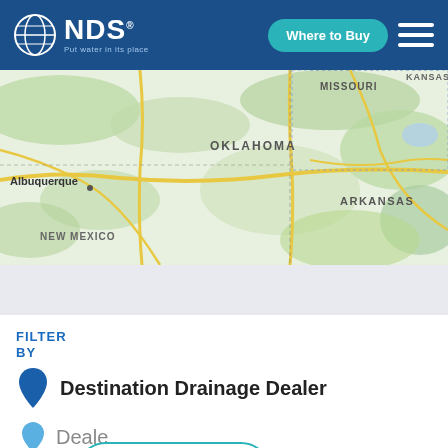[Figure (logo): NDS logo with globe icon and tagline 'Put water in its place' on blue header bar]
[Figure (map): Map showing south-central US states including New Mexico (Albuquerque), Kansas, Missouri, Oklahoma, and Arkansas with roads highlighted]
FILTER BY
[Figure (infographic): Dark blue map pin icon for Destination Drainage Dealer]
Destination Drainage Dealer
[Figure (infographic): Light blue map pin icon for Dealer]
Dealer
[Figure (infographic): Ask an Expert button with photo of smiling man]